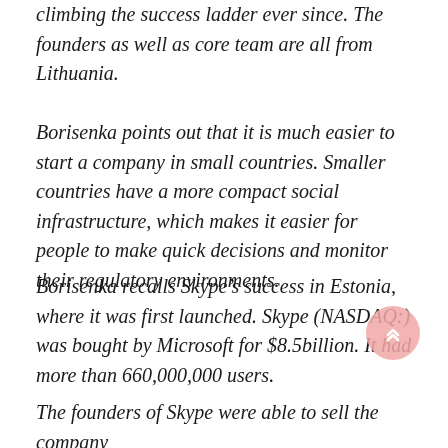climbing the success ladder ever since. The founders as well as core team are all from Lithuania.
Borisenka points out that it is much easier to start a company in small countries. Smaller countries have a more compact social infrastructure, which makes it easier for people to make quick decisions and monitor their regulatory environments.
Borisenka recalls Skype’s success in Estonia, where it was first launched. Skype (NASDAQ:) was bought by Microsoft for $8.5billion. It had more than 660,000,000 users.
The founders of Skype were able to sell the company